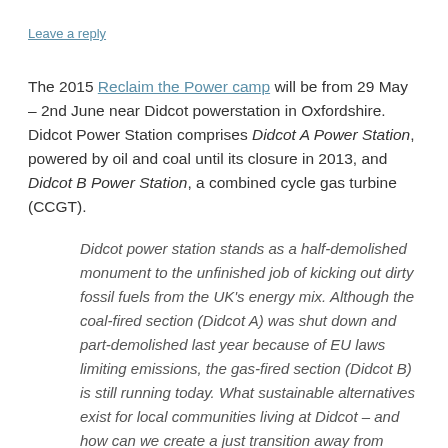Leave a reply
The 2015 Reclaim the Power camp will be from 29 May – 2nd June near Didcot powerstation in Oxfordshire. Didcot Power Station comprises Didcot A Power Station, powered by oil and coal until its closure in 2013, and Didcot B Power Station, a combined cycle gas turbine (CCGT).
Didcot power station stands as a half-demolished monument to the unfinished job of kicking out dirty fossil fuels from the UK's energy mix. Although the coal-fired section (Didcot A) was shut down and part-demolished last year because of EU laws limiting emissions, the gas-fired section (Didcot B) is still running today. What sustainable alternatives exist for local communities living at Didcot – and how can we create a just transition away from fossil fuels?